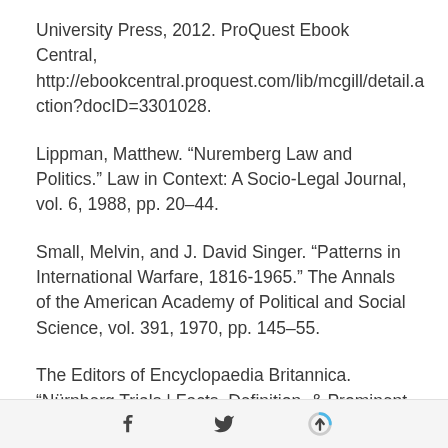University Press, 2012. ProQuest Ebook Central, http://ebookcentral.proquest.com/lib/mcgill/detail.action?docID=3301028.
Lippman, Matthew. “Nuremberg Law and Politics.” Law in Context: A Socio-Legal Journal, vol. 6, 1988, pp. 20–44.
Small, Melvin, and J. David Singer. “Patterns in International Warfare, 1816-1965.” The Annals of the American Academy of Political and Social Science, vol. 391, 1970, pp. 145–55.
The Editors of Encyclopaedia Britannica. “Nürnberg Trials | Facts, Definition, & Prominent Defendants.”